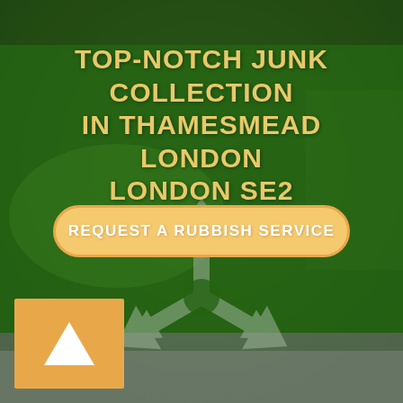[Figure (photo): Close-up photo of a dark green recycling bin with a large recycling symbol (three chasing arrows in a hexagon) visible on the front. Background is blurred greenery.]
TOP-NOTCH JUNK COLLECTION IN THAMESMEAD LONDON LONDON SE2
REQUEST A RUBBISH SERVICE
[Figure (logo): Orange/amber square background with a white upward-pointing triangle (play/arrow icon) in the center, serving as a logo or brand mark.]